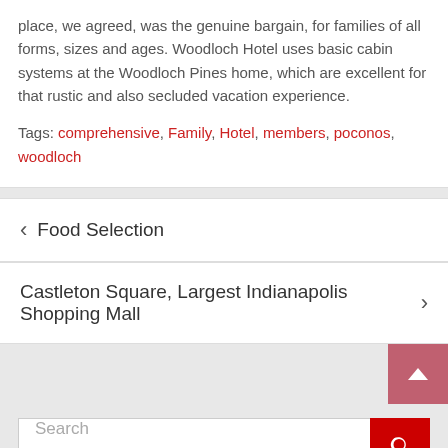place, we agreed, was the genuine bargain, for families of all forms, sizes and ages. Woodloch Hotel uses basic cabin systems at the Woodloch Pines home, which are excellent for that rustic and also secluded vacation experience.
Tags: comprehensive, Family, Hotel, members, poconos, woodloch
< Food Selection
Castleton Square, Largest Indianapolis Shopping Mall >
Search